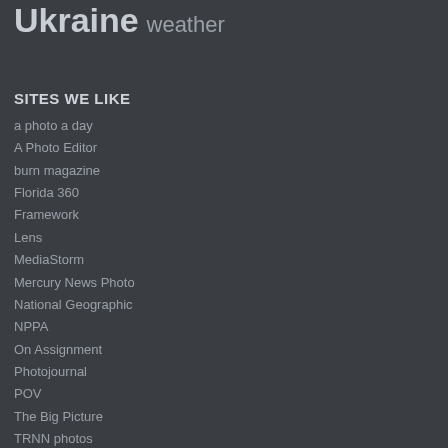Ukraine weather
SITES WE LIKE
a photo a day
A Photo Editor
burn magazine
Florida 360
Framework
Lens
MediaStorm
Mercury News Photo
National Geographic
NPPA
On Assignment
Photojournal
POV
The Big Picture
TRNN photos
VICE
VII
Washington Post